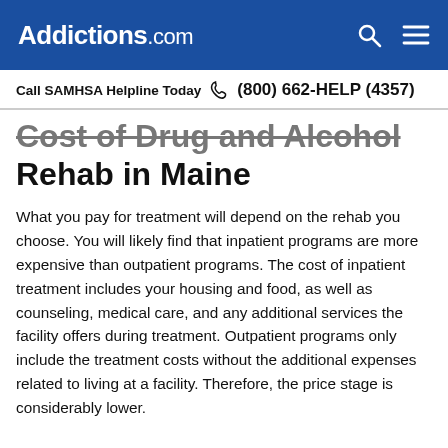Addictions.com
Call SAMHSA Helpline Today  (800) 662-HELP (4357)
Cost of Drug and Alcohol Rehab in Maine
What you pay for treatment will depend on the rehab you choose. You will likely find that inpatient programs are more expensive than outpatient programs. The cost of inpatient treatment includes your housing and food, as well as counseling, medical care, and any additional services the facility offers during treatment. Outpatient programs only include the treatment costs without the additional expenses related to living at a facility. Therefore, the price stage is considerably lower.